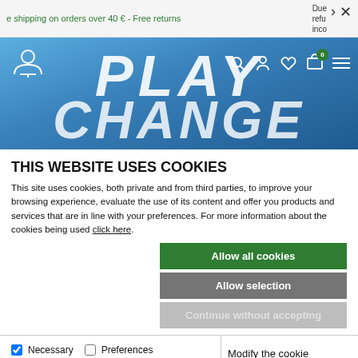e shipping on orders over 40 € - Free returns
[Figure (screenshot): Benetton website header with PLAY CHANGE hero banner, navigation icons including logo, search, account, wishlist, cart (0 items), and menu]
THIS WEBSITE USES COOKIES
This site uses cookies, both private and from third parties, to improve your browsing experience, evaluate the use of its content and offer you products and services that are in line with your preferences. For more information about the cookies being used click here.
Allow all cookies
Allow selection
Continue without accepting
Necessary  Preferences  Statistics  Marketing  Modify the cookie selection